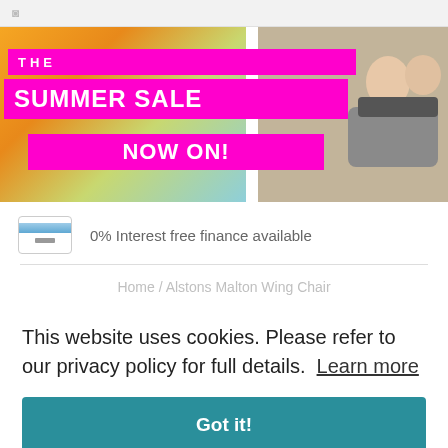[Figure (photo): Summer sale banner showing 'THE SUMMER SALE NOW ON!' in magenta/pink text overlaid on a colourful background with a couple sitting on outdoor furniture on the right side.]
0% Interest free finance available
Home / Alstons Malton Wing Chair
This website uses cookies. Please refer to our privacy policy for full details.  Learn more
Got it!
[Figure (illustration): Partial view of a chair illustration at the bottom of the page.]